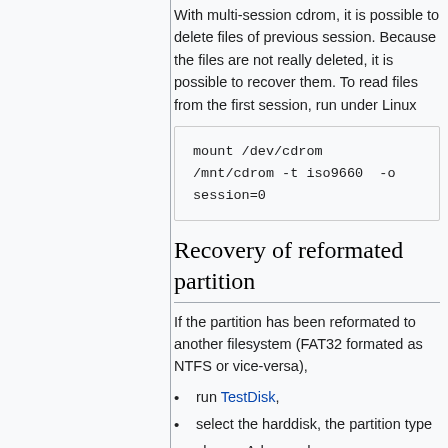With multi-session cdrom, it is possible to delete files of previous session. Because the files are not really deleted, it is possible to recover them. To read files from the first session, run under Linux
Recovery of reformated partition
If the partition has been reformated to another filesystem (FAT32 formated as NTFS or vice-versa),
run TestDisk,
select the harddisk, the partition type
choose Advanced